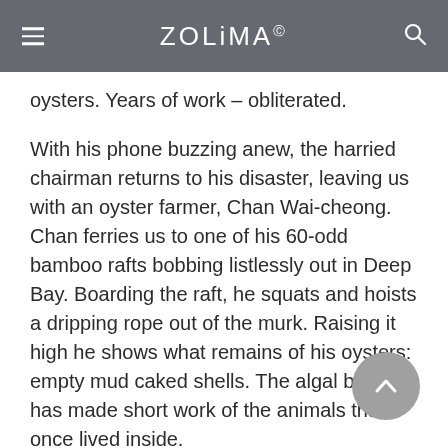ZOLIMA
oysters. Years of work – obliterated.
With his phone buzzing anew, the harried chairman returns to his disaster, leaving us with an oyster farmer, Chan Wai-cheong. Chan ferries us to one of his 60-odd bamboo rafts bobbing listlessly out in Deep Bay. Boarding the raft, he squats and hoists a dripping rope out of the murk. Raising it high he shows what remains of his oysters: empty mud caked shells. The algal bloom has made short work of the animals that once lived inside.